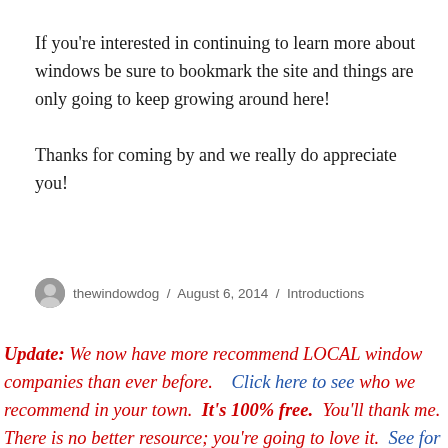If you're interested in continuing to learn more about windows be sure to bookmark the site and things are only going to keep growing around here!
Thanks for coming by and we really do appreciate you!
thewindowdog / August 6, 2014 / Introductions
Update: We now have more recommend LOCAL window companies than ever before.   Click here to see who we recommend in your town.  It's 100% free.  You'll thank me.  There is no better resource; you're going to love it.  See for